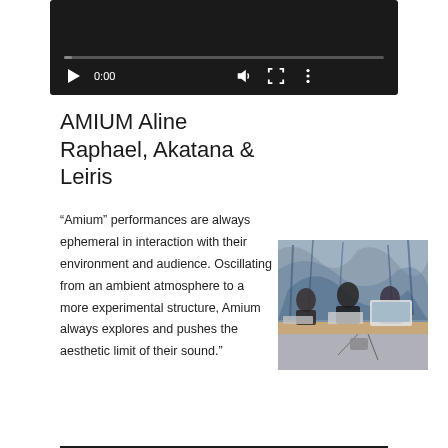[Figure (screenshot): Video player UI with dark background showing play button, time 0:00, volume, fullscreen and options icons, with a progress bar at the bottom]
AMIUM Aline Raphael, Akatana & Leiris
"Amium" performances are always ephemeral in interaction with their environment and audience. Oscillating from an ambient atmosphere to a more experimental structure, Amium always explores and pushes the aesthetic limit of their sound."
[Figure (photo): Three people working at computers/laptops at a table in front of a colorful painted backdrop]